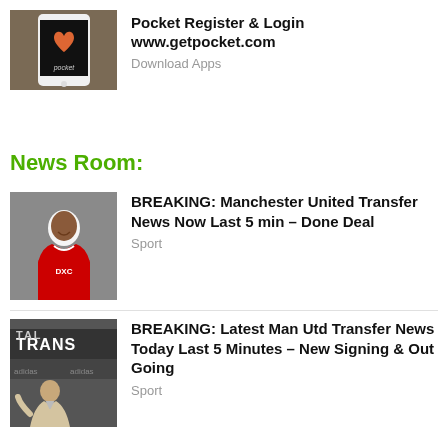[Figure (photo): Hand holding a smartphone showing the Pocket app logo on a dark screen]
Pocket Register & Login
www.getpocket.com
Download Apps
News Room:
[Figure (photo): Man in Manchester United red jersey with arms crossed against grey background]
BREAKING: Manchester United Transfer News Now Last 5 min – Done Deal
Sport
[Figure (photo): Press conference scene with TRANSFER text banner and a man in suit]
BREAKING: Latest Man Utd Transfer News Today Last 5 Minutes – New Signing & Out Going
Sport